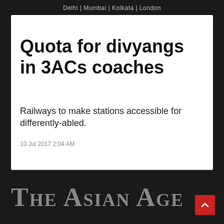Delhi | Mumbai | Kolkata | London
Quota for divyangs in 3ACs coaches
Railways to make stations accessible for differently-abled.
10 Jul 2017 2:04 AM
[Figure (logo): The Asian Age newspaper logo in grey on dark background]